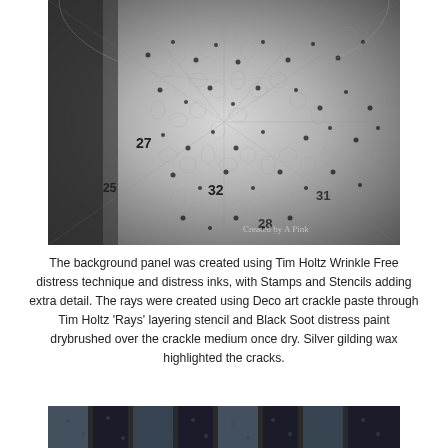[Figure (photo): Close-up photo of crackle paste texture with radiating rays pattern, black and white/grey tones, with numbers visible (27, 32, 31, 28, 25) and watermark 'Created by A Pink' in lower right corner.]
The background panel was created using Tim Holtz Wrinkle Free distress technique and distress inks, with Stamps and Stencils adding extra detail. The rays were created using Deco art crackle paste through Tim Holtz 'Rays' layering stencil and Black Soot distress paint drybrushed over the crackle medium once dry. Silver gilding wax highlighted the cracks.
[Figure (photo): Partial view of another crafted panel with blue and dark tones visible at the bottom of the page.]